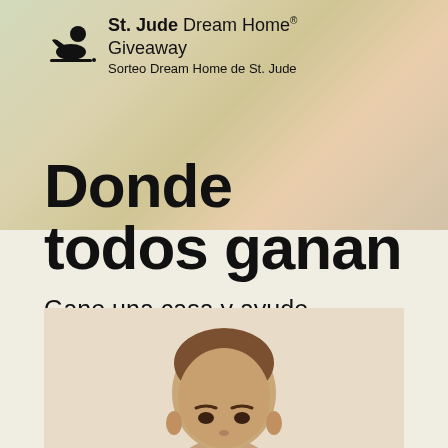[Figure (logo): St. Jude Dream Home Giveaway logo with child silhouette icon]
Donde todos ganan
Gane una casa y ayude a salvar vidas.
Reservar Boletos
[Figure (photo): Young child's face (top of head, forehead, eyes visible) on cream background]